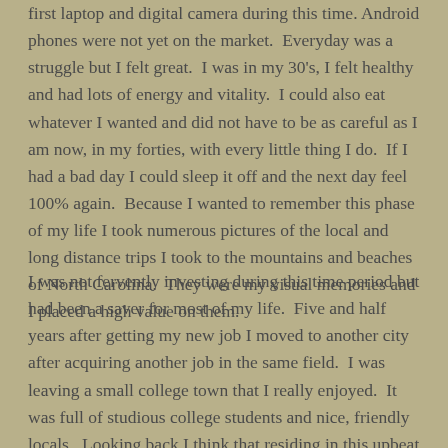first laptop and digital camera during this time. Android phones were not yet on the market. Everyday was a struggle but I felt great. I was in my 30's, I felt healthy and had lots of energy and vitality. I could also eat whatever I wanted and did not have to be as careful as I am now, in my forties, with every little thing I do. If I had a bad day I could sleep it off and the next day feel 100% again. Because I wanted to remember this phase of my life I took numerous pictures of the local and long distance trips I took to the mountains and beaches of North Carolina. They were my visual memories and I placed a high value on them.
I was not fervently investing during this time period but had been a saver for most of my life. Five and half years after getting my new job I moved to another city after acquiring another job in the same field. I was leaving a small college town that I really enjoyed. It was full of studious college students and nice, friendly locals. Looking back I think that residing in this upbeat and dynamic area sheltered me from